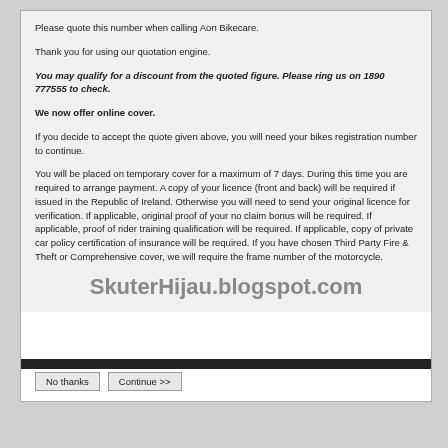Please quote this number when calling Aon Bikecare.
Thank you for using our quotation engine.
You may qualify for a discount from the quoted figure. Please ring us on 1890 777555 to check.
We now offer online cover.
If you decide to accept the quote given above, you will need your bikes registration number to continue.
You will be placed on temporary cover for a maximum of 7 days. During this time you are required to arrange payment. A copy of your licence (front and back) will be required if issued in the Republic of Ireland. Otherwise you will need to send your original licence for verification. If applicable, original proof of your no claim bonus will be required. If applicable, proof of rider training qualification will be required. If applicable, copy of private car policy certification of insurance will be required. If you have chosen Third Party Fire & Theft or Comprehensive cover, we will require the frame number of the motorcycle.
[Figure (other): Watermark text: SkuterHijau.blogspot.com]
No thanks   Continue >>